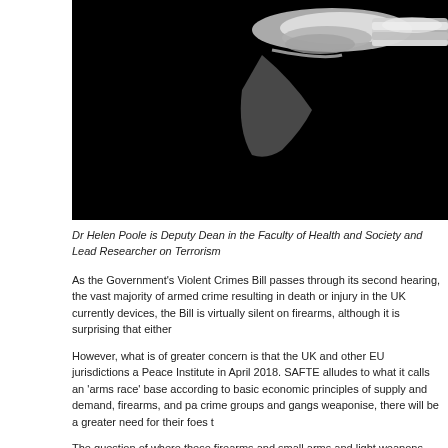[Figure (photo): Black and white close-up photograph of a revolver gun cylinder/barrel against a black background]
Dr Helen Poole is Deputy Dean in the Faculty of Health and Society and Lead Researcher on Terrorism
As the Government’s Violent Crimes Bill passes through its second hearing, the vast majority of armed crime resulting in death or injury in the UK currently devices, the Bill is virtually silent on firearms, although it is surprising that either
However, what is of greater concern is that the UK and other EU jurisdictions a Peace Institute in April 2018. SAFTE alludes to what it calls an ‘arms race’ base according to basic economic principles of supply and demand, firearms, and pa crime groups and gangs weaponise, there will be a greater need for their foes t
The question of where these firearms and small arms and light weapons emans